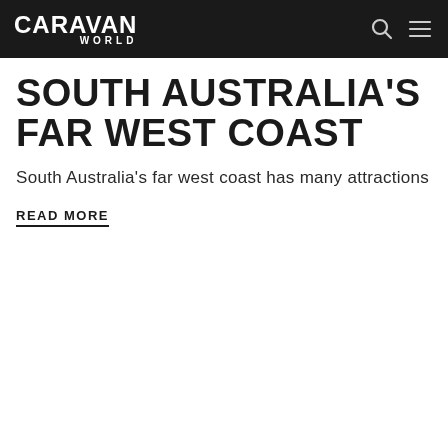CARAVAN WORLD
SOUTH AUSTRALIA'S FAR WEST COAST
South Australia's far west coast has many attractions
READ MORE